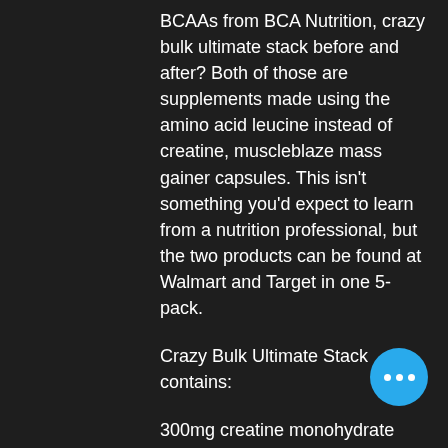BCAAs from BCA Nutrition, crazy bulk ultimate stack before and after? Both of those are supplements made using the amino acid leucine instead of creatine, muscleblaze mass gainer capsules. This isn't something you'd expect to learn from a nutrition professional, but the two products can be found at Walmart and Target in one 5-pack.
Crazy Bulk Ultimate Stack contains:
300mg creatine monohydrate
90g bCAAs (leucine + arginine + valine)
500mg of amino acids
2g zinc
How does the content of the Ultimate Stack